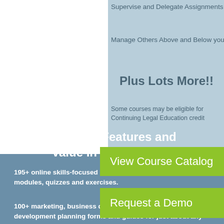Supervise and Delegate Assignments
Manage Others Above and Below you
Plus Lots More!!
Some courses may be eligible for Continuing Legal Education credit
[Figure (other): Green button: View Course Catalog]
[Figure (other): Green button: Request a Demo]
[Figure (other): Small green bar/button]
The Best Features and Value in The Industry
195+ online skills-focused business and practice development modules, quizzes and exercises.
100+ marketing, business development and practice development planning forms and guides for just about any